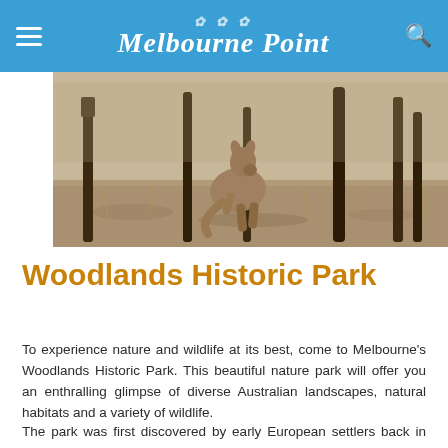Melbourne Point
[Figure (photo): A kangaroo standing in a woodland park with dry grass and bare eucalyptus trees in the background — Woodlands Historic Park wildlife photograph]
Woodlands Historic Park
To experience nature and wildlife at its best, come to Melbourne's Woodlands Historic Park. This beautiful nature park will offer you an enthralling glimpse of diverse Australian landscapes, natural habitats and a variety of wildlife.
The park was first discovered by early European settlers back in the 1840s. Today, the Woodlands